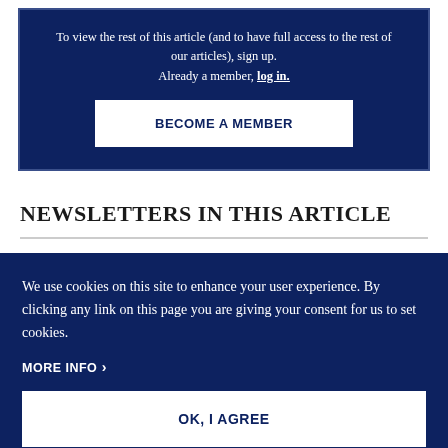To view the rest of this article (and to have full access to the rest of our articles), sign up. Already a member, log in.
BECOME A MEMBER
NEWSLETTERS IN THIS ARTICLE
We use cookies on this site to enhance your user experience. By clicking any link on this page you are giving your consent for us to set cookies.
MORE INFO ›
OK, I AGREE